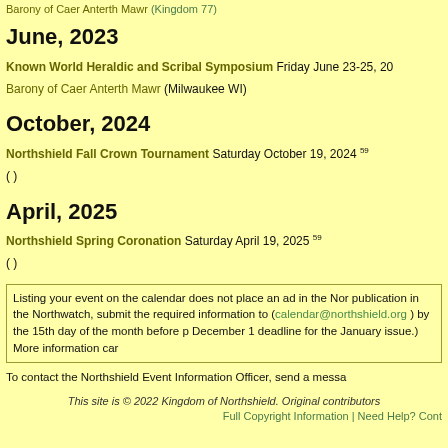Barony of Caer Anterth Mawr (Kingdom 77)
June, 2023
Known World Heraldic and Scribal Symposium Friday June 23-25, 20... Barony of Caer Anterth Mawr (Milwaukee WI)
October, 2024
Northshield Fall Crown Tournament Saturday October 19, 2024 59 ( )
April, 2025
Northshield Spring Coronation Saturday April 19, 2025 59 ( )
Listing your event on the calendar does not place an ad in the Nor... publication in the Northwatch, submit the required information to (calendar@northshield.org) by the 15th day of the month before p... December 1 deadline for the January issue.) More information car...
To contact the Northshield Event Information Officer, send a messa...
This site is © 2022 Kingdom of Northshield. Original contributors...
Full Copyright Information | Need Help? Cont...